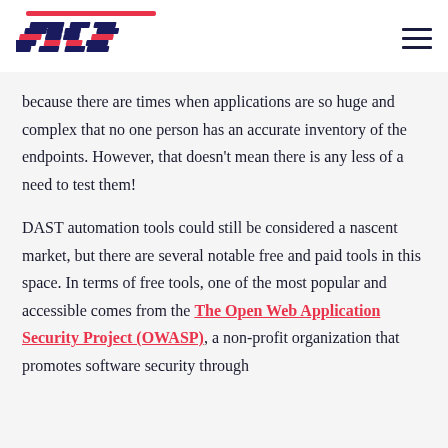[Figure (logo): SOOS logo — stylized diagonal parallel lines forming letters, dark navy blue with red accent bar at top]
because there are times when applications are so huge and complex that no one person has an accurate inventory of the endpoints. However, that doesn't mean there is any less of a need to test them!
DAST automation tools could still be considered a nascent market, but there are several notable free and paid tools in this space. In terms of free tools, one of the most popular and accessible comes from the The Open Web Application Security Project (OWASP), a non-profit organization that promotes software security through